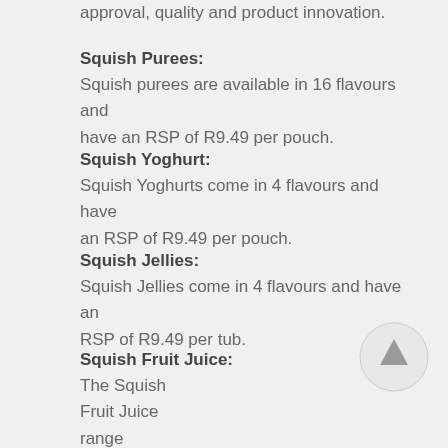approval, quality and product innovation.
Squish Purees:
Squish purees are available in 16 flavours and have an RSP of R9.49 per pouch.
Squish Yoghurt:
Squish Yoghurts come in 4 flavours and have an RSP of R9.49 per pouch.
Squish Jellies:
Squish Jellies come in 4 flavours and have an RSP of R9.49 per tub.
Squish Fruit Juice:
The Squish Fruit Juice range comes in 3 flavour variants and are pressed and preservative free and have an RSP of R9.49 per
[Figure (illustration): A circular scroll-to-top button with an upward arrow icon]